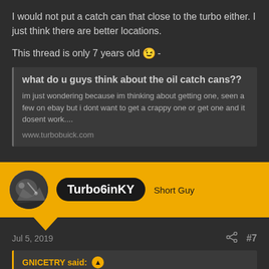I would not put a catch can that close to the turbo either. I just think there are better locations.
This thread is only 7 years old 😉-
what do u guys think about the oil catch cans??
im just wondering because im thinking about getting one, seen a few on ebay but i dont want to get a crappy one or get one and it dosent work....
www.turbobuick.com
Turbo6inKY   Short Guy
Jul 5, 2019   #7
GNICETRY said: